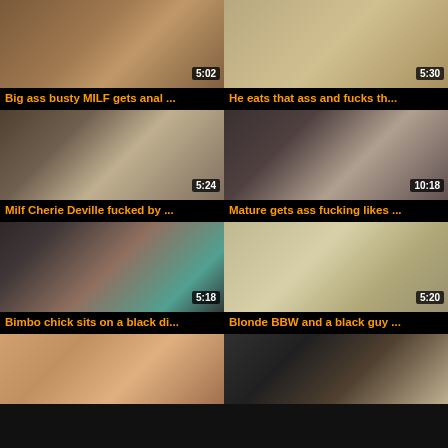[Figure (screenshot): Video thumbnail - Big ass busty MILF gets anal, duration 5:02]
Big ass busty MILF gets anal ...
[Figure (screenshot): Video thumbnail - He eats that ass and fucks th..., duration 5:30]
He eats that ass and fucks th...
[Figure (screenshot): Video thumbnail - Milf Cherie Deville fucked by ..., duration 5:24]
Milf Cherie Deville fucked by ...
[Figure (screenshot): Video thumbnail - Mature gets ass fucking likes ..., duration 10:18]
Mature gets ass fucking likes ...
[Figure (screenshot): Video thumbnail - Bimbo chick sits on a black di..., duration 5:18]
Bimbo chick sits on a black di...
[Figure (screenshot): Video thumbnail - Blonde BBW and a black guy ..., duration 5:20]
Blonde BBW and a black guy ...
[Figure (screenshot): Video thumbnail - (partial, no title visible)]
[Figure (screenshot): Video thumbnail - (partial, no title visible)]